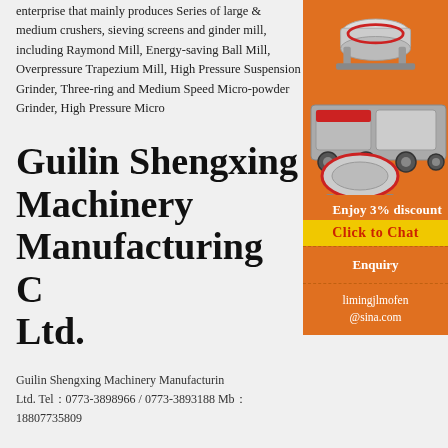enterprise that mainly produces Series of large & medium crushers, sieving screens and ginder mill, including Raymond Mill, Energy-saving Ball Mill, Overpressure Trapezium Mill, High Pressure Suspension Grinder, Three-ring and Medium Speed Micro-powder Grinder, High Pressure Micro
Guilin Shengxing Machinery Manufacturing Co. Ltd.
Guilin Shengxing Machinery Manufacturing Ltd. Tel：0773-3898966 / 0773-3893188 Mb：18807735809
[Figure (photo): Orange sidebar advertisement showing industrial machinery equipment (crushers, mills) on orange background with discount offer and contact information]
Processed Charco Powder Machine